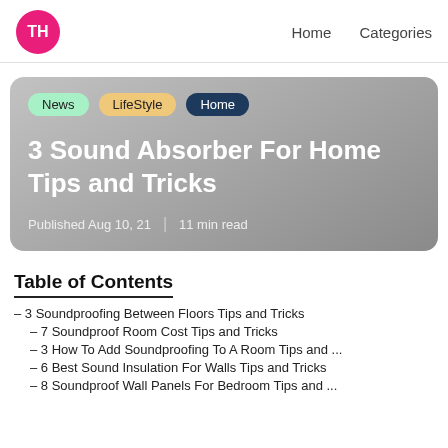TH  Home  Categories
[Figure (infographic): Hero card with gradient gray background showing category tags (News, LifeStyle, Home) and article title '3 Sound Absorber For Home Tips and Tricks' with published date Aug 10, 21 and 11 min read]
Table of Contents
– 3 Soundproofing Between Floors Tips and Tricks
– 7 Soundproof Room Cost Tips and Tricks
– 3 How To Add Soundproofing To A Room Tips and ...
– 6 Best Sound Insulation For Walls Tips and Tricks
– 8 Soundproof Wall Panels For Bedroom Tips and ...